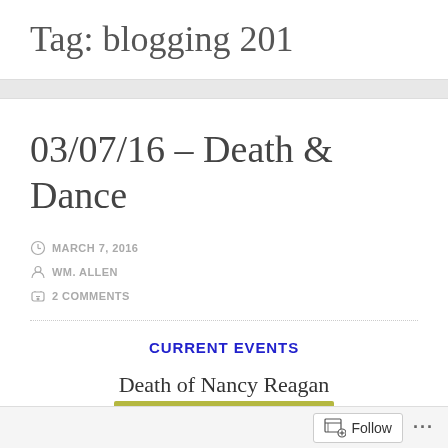Tag: blogging 201
03/07/16 – Death & Dance
MARCH 7, 2016
WM. ALLEN
2 COMMENTS
CURRENT EVENTS
Death of Nancy Reagan
Follow